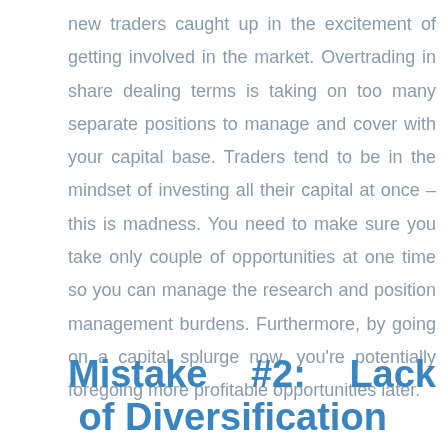new traders caught up in the excitement of getting involved in the market. Overtrading in share dealing terms is taking on too many separate positions to manage and cover with your capital base. Traders tend to be in the mindset of investing all their capital at once – this is madness. You need to make sure you take only couple of opportunities at one time so you can manage the research and position management burdens. Furthermore, by going on a capital splurge now, you're potentially foregoing more profitable opportunities later.
Mistake #2: Lack of Diversification